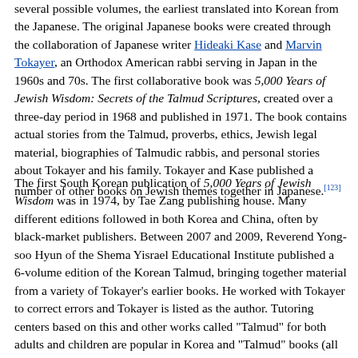several possible volumes, the earliest translated into Korean from the Japanese. The original Japanese books were created through the collaboration of Japanese writer Hideaki Kase and Marvin Tokayer, an Orthodox American rabbi serving in Japan in the 1960s and 70s. The first collaborative book was 5,000 Years of Jewish Wisdom: Secrets of the Talmud Scriptures, created over a three-day period in 1968 and published in 1971. The book contains actual stories from the Talmud, proverbs, ethics, Jewish legal material, biographies of Talmudic rabbis, and personal stories about Tokayer and his family. Tokayer and Kase published a number of other books on Jewish themes together in Japanese.[123]
The first South Korean publication of 5,000 Years of Jewish Wisdom was in 1974, by Tae Zang publishing house. Many different editions followed in both Korea and China, often by black-market publishers. Between 2007 and 2009, Reverend Yong-soo Hyun of the Shema Yisrael Educational Institute published a 6-volume edition of the Korean Talmud, bringing together material from a variety of Tokayer's earlier books. He worked with Tokayer to correct errors and Tokayer is listed as the author. Tutoring centers based on this and other works called "Talmud" for both adults and children are popular in Korea and "Talmud" books (all based on Tokayer's works and not the original Talmud) are widely read and known.[123]